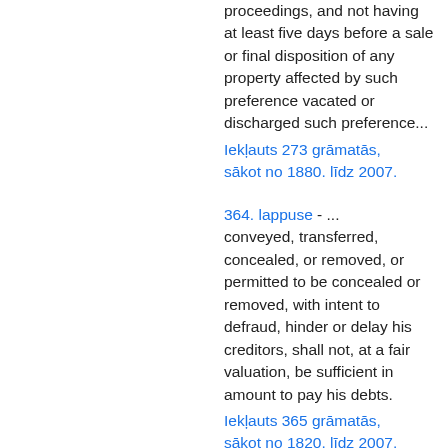proceedings, and not having at least five days before a sale or final disposition of any property affected by such preference vacated or discharged such preference...
Iekļauts 273 grāmatās, sākot no 1880. līdz 2007.
364. lappuse - ... conveyed, transferred, concealed, or removed, or permitted to be concealed or removed, with intent to defraud, hinder or delay his creditors, shall not, at a fair valuation, be sufficient in amount to pay his debts.
Iekļauts 365 grāmatās, sākot no 1820. līdz 2007.